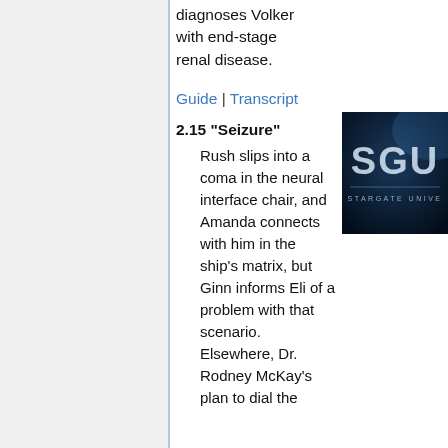diagnoses Volker with end-stage renal disease.
Guide | Transcript
2.15 "Seizure"
Rush slips into a coma in the neural interface chair, and Amanda connects with him in the ship's matrix, but Ginn informs Eli of a problem with that scenario. Elsewhere, Dr. Rodney McKay's plan to dial the
[Figure (logo): Stargate Universe logo on dark blue background with text SGU and STARGATE UNIVERSE]